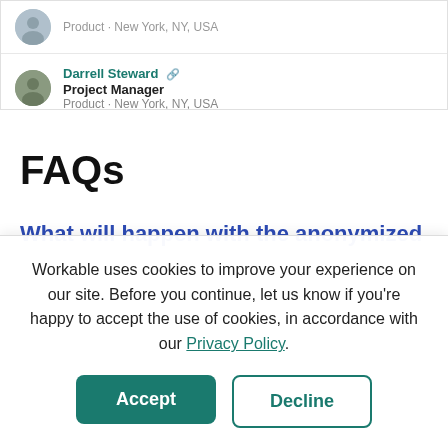[Figure (screenshot): A partial screenshot of a web page showing a list of people. One visible row: Darrell Steward, Project Manager, Product · New York, NY, USA. A partial row above is also visible with 'Product · New York, NY, USA'.]
FAQs
What will happen with the anonymized
Workable uses cookies to improve your experience on our site. Before you continue, let us know if you're happy to accept the use of cookies, in accordance with our Privacy Policy.
Accept
Decline